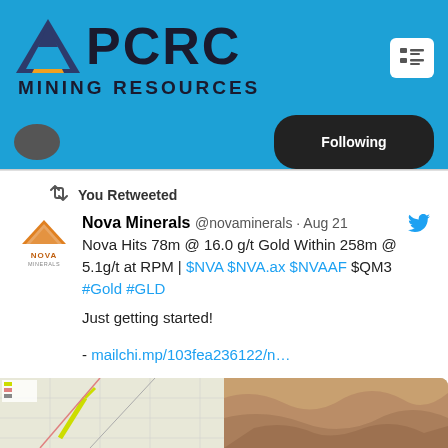[Figure (logo): APCRC Mining Resources logo with blue mountain/triangle icon and text on blue background header]
You Retweeted
Nova Minerals @novaminerals · Aug 21
Nova Hits 78m @ 16.0 g/t Gold Within 258m @ 5.1g/t at RPM | $NVA $NVA.ax $NVAAF $QM3 #Gold #GLD
Just getting started!
- mailchi.mp/103fea236122/n…
[Figure (photo): Two images side by side: a map showing mine location with lines, and a photo of rock/mineral sample]